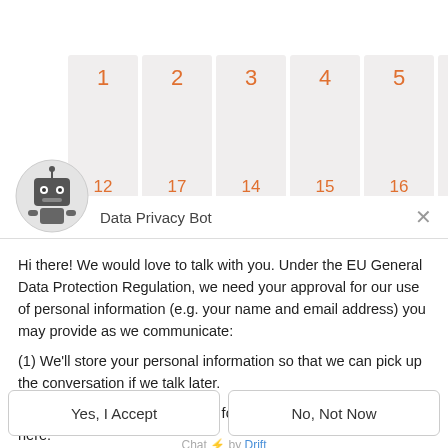[Figure (other): Partially visible bar chart with numbered tiles 1-10 across the top and a second row of numbers partially visible below]
[Figure (illustration): Robot/bot avatar icon in a circle - grey circle with robot face (square head with antenna, eyes and body)]
Data Privacy Bot
Hi there! We would love to talk with you. Under the EU General Data Protection Regulation, we need your approval for our use of personal information (e.g. your name and email address) you may provide as we communicate:
(1) We'll store your personal information so that we can pick up the conversation if we talk later.
(2) We may send you emails to follow up on our discussion here.
Yes, I Accept
No, Not Now
Chat ⚡ by Drift